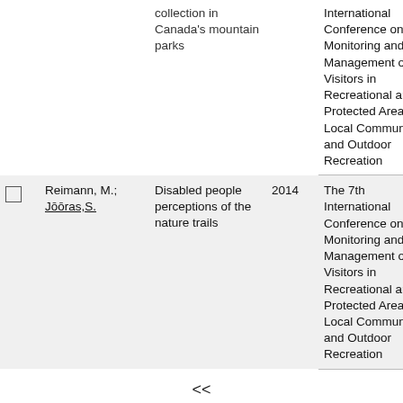|  | Author | Title | Year | Journal/Conference | Type |
| --- | --- | --- | --- | --- | --- |
|  |  | collection in Canada's mountain parks |  | International Conference on Monitoring and Management of Visitors in Recreational and Protected Areas: Local Community and Outdoor Recreation | Proce |
| ☐ | Reimann, M.; Jōōras,S. | Disabled people perceptions of the nature trails | 2014 | The 7th International Conference on Monitoring and Management of Visitors in Recreational and Protected Areas: Local Community and Outdoor Recreation | MMV Proce |
<<